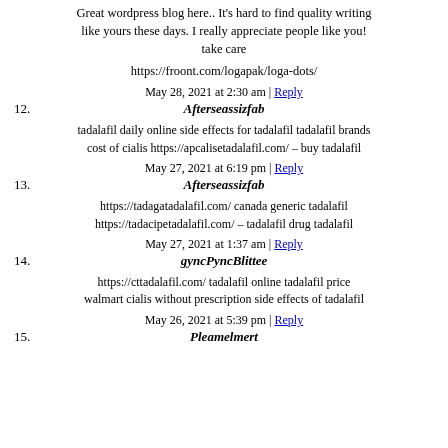Great wordpress blog here.. It's hard to find quality writing like yours these days. I really appreciate people like you! take care
https://froont.com/logapak/loga-dots/
May 28, 2021 at 2:30 am | Reply
12. Afterseassizfab
tadalafil daily online side effects for tadalafil tadalafil brands cost of cialis https://apcalisetadalafil.com/ – buy tadalafil
May 27, 2021 at 6:19 pm | Reply
13. Afterseassizfab
https://tadagatadalafil.com/ canada generic tadalafil https://tadacipetadalafil.com/ – tadalafil drug tadalafil
May 27, 2021 at 1:37 am | Reply
14. gyncPyncBlittee
https://cttadalafil.com/ tadalafil online tadalafil price walmart cialis without prescription side effects of tadalafil
May 26, 2021 at 5:39 pm | Reply
15. Pleamelmert